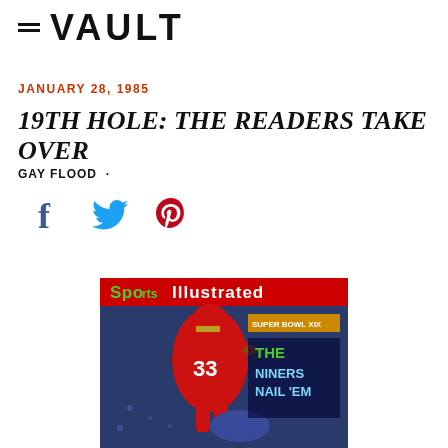VAULT
JANUARY 28, 1985
19TH HOLE: THE READERS TAKE OVER
GAY FLOOD ·
[Figure (other): Social sharing icons: Facebook (f), Twitter (bird), Pinterest (P)]
[Figure (photo): Sports Illustrated magazine cover dated January 28, 1985, showing a San Francisco 49ers player wearing jersey number 33 running with the football. Headline reads: SUPER BOWL XIX - THE NINERS NAIL 'EM]